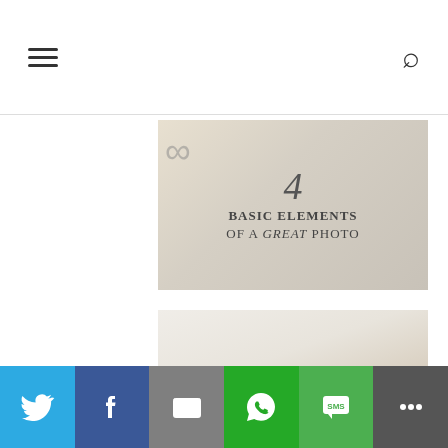Navigation header with hamburger menu and search icon
[Figure (photo): Blog post thumbnail image with text overlay '4 Basic Elements of a Great Photo' on a light grey textured background with an infinity symbol]
[Figure (photo): Blog post thumbnail image with text overlay 'Banana Nut Smoothie' showing ingredients including banana slices, nuts, and a smoothie jar on a white background]
[Figure (infographic): Social share bar with Twitter (blue), Facebook (dark blue), Email (grey), WhatsApp (green), SMS (green), More (dark grey) buttons]